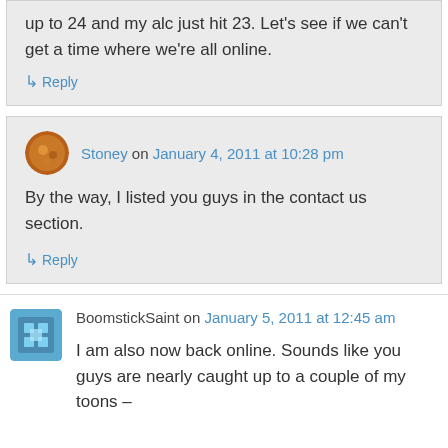up to 24 and my alc just hit 23. Let's see if we can't get a time where we're all online.
↳ Reply
Stoney on January 4, 2011 at 10:28 pm
By the way, I listed you guys in the contact us section.
↳ Reply
BoomstickSaint on January 5, 2011 at 12:45 am
I am also now back online. Sounds like you guys are nearly caught up to a couple of my toons –